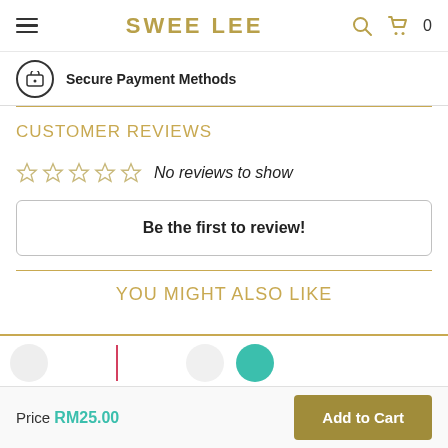SWEE LEE
Secure Payment Methods
CUSTOMER REVIEWS
No reviews to show
Be the first to review!
YOU MIGHT ALSO LIKE
Price RM25.00
Add to Cart